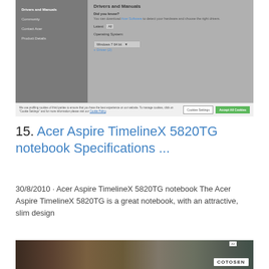[Figure (screenshot): Screenshot of Acer support website showing Drivers and Manuals page with navigation menu on left (Drivers and Manuals, Community, Contact Acer, Product Details), and main content area showing Did you know? section, Latest filter, Operating System dropdown (Windows 7 64 bit), and Driver (2) section. A cookie consent bar is shown at the bottom of the screenshot.]
15. Acer Aspire TimelineX 5820TG notebook Specifications ...
30/8/2010 · Acer Aspire TimelineX 5820TG notebook The Acer Aspire TimelineX 5820TG is a great notebook, with an attractive, slim design
[Figure (photo): Advertisement banner showing COTOSEN brand with images of people wearing outdoor/camouflage clothing]